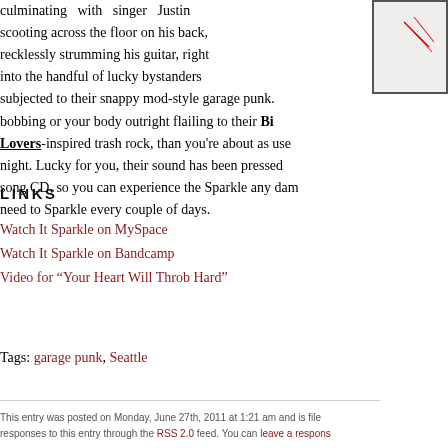culminating with singer Justin scooting across the floor on his back, recklessly strumming his guitar, right into the handful of lucky bystanders subjected to their snappy mod-style garage punk. If your head isn't bobbing or your body outright flailing to their Birthday Party/Lovers-inspired trash rock, than you're about as useful as the night. Lucky for you, their sound has been pressed onto a 4-song CD, so you can experience the Sparkle any damn time you need to Sparkle every couple of days.
LINKS
Watch It Sparkle on MySpace
Watch It Sparkle on Bandcamp
Video for "Your Heart Will Throb Hard"
Tags: garage punk, Seattle
This entry was posted on Monday, June 27th, 2011 at 1:21 am and is filed under... responses to this entry through the RSS 2.0 feed. You can leave a response
One Response to "Watch It Sparkle"